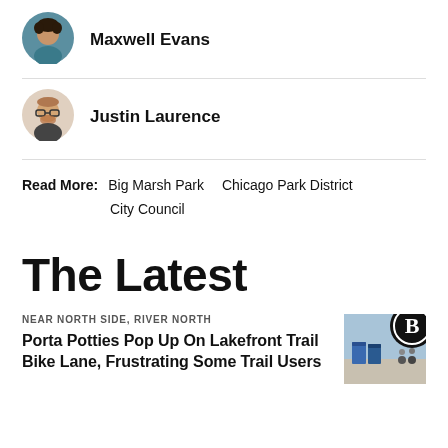[Figure (photo): Circular avatar photo of Maxwell Evans]
Maxwell Evans
[Figure (photo): Circular avatar photo of Justin Laurence]
Justin Laurence
Read More: Big Marsh Park Chicago Park District City Council
The Latest
NEAR NORTH SIDE, RIVER NORTH
Porta Potties Pop Up On Lakefront Trail Bike Lane, Frustrating Some Trail Users
[Figure (photo): Thumbnail photo of porta potties on a lakefront trail bike lane with cyclists in background; black circular B logo overlay in top right]